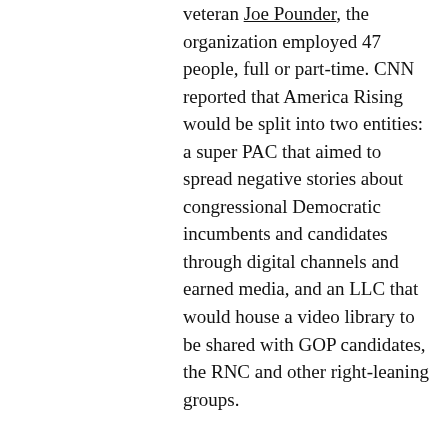veteran Joe Pounder, the organization employed 47 people, full or part-time. CNN reported that America Rising would be split into two entities: a super PAC that aimed to spread negative stories about congressional Democratic incumbents and candidates through digital channels and earned media, and an LLC that would house a video library to be shared with GOP candidates, the RNC and other right-leaning groups.

To avoid making illegal in-kind corporate contributions, the LLC would likely need to charge candidates for access to the library.[3] Pounder and